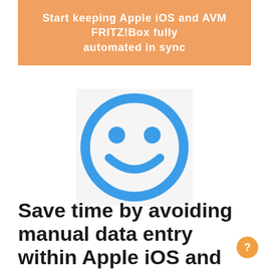Start keeping Apple iOS and AVM FRITZ!Box fully automated in sync
[Figure (illustration): Blue smiley face icon on light grey background — a simple circle outline with two circular eyes and a curved smile, all in blue.]
Save time by avoiding manual data entry within Apple iOS and